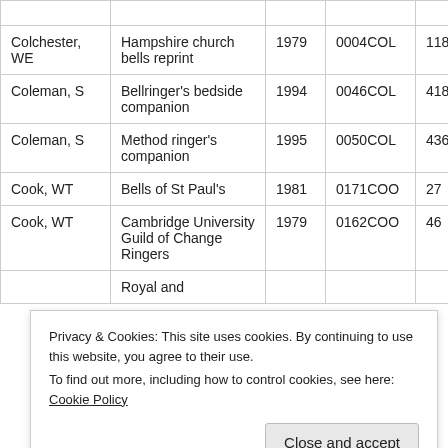| Author | Title | Year | Code |  |
| --- | --- | --- | --- | --- |
| Colchester, WE | Hampshire church bells reprint | 1979 | 0004COL | 118 |
| Coleman, S | Bellringer's bedside companion | 1994 | 0046COL | 418 |
| Coleman, S | Method ringer's companion | 1995 | 0050COL | 436 |
| Cook, WT | Bells of St Paul's | 1981 | 0171COO | 27 |
| Cook, WT | Cambridge University Guild of Change Ringers | 1979 | 0162COO | 46 |
|  | Royal and |  |  |  |
Privacy & Cookies: This site uses cookies. By continuing to use this website, you agree to their use. To find out more, including how to control cookies, see here: Cookie Policy